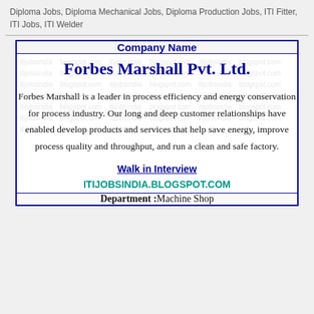Diploma Jobs, Diploma Mechanical Jobs, Diploma Production Jobs, ITI Fitter, ITI Jobs, ITI Welder
| Company Name |
| --- |
| Forbes Marshall Pvt. Ltd. |
| Forbes Marshall is a leader in process efficiency and energy conservation for process industry. Our long and deep customer relationships have enabled develop products and services that help save energy, improve process quality and throughput, and run a clean and safe factory.

Walk in Interview
ITIJOBSINDIA.BLOGSPOT.COM |
| Department : Machine Shop |
Department :Machine Shop